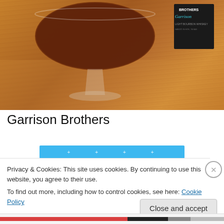[Figure (photo): Photo of a cocktail glass containing a dark reddish-brown drink sitting on a wooden table, with a Garrison Brothers bourbon whiskey label/box visible in the background]
Garrison Brothers
[Figure (screenshot): Blue social share bar with dots and icons]
Privacy & Cookies: This site uses cookies. By continuing to use this website, you agree to their use.
To find out more, including how to control cookies, see here: Cookie Policy
Close and accept